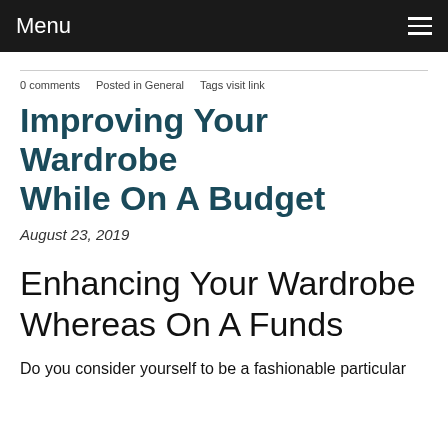Menu
0 comments   Posted in General   Tags visit link
Improving Your Wardrobe While On A Budget
August 23, 2019
Enhancing Your Wardrobe Whereas On A Funds
Do you consider yourself to be a fashionable particular